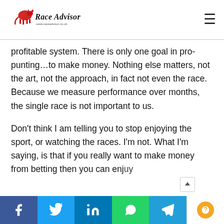Race Advisor — www.raceadvisor.co.uk
profitable system. There is only one goal in pro-punting…to make money. Nothing else matters, not the art, not the approach, in fact not even the race. Because we measure performance over months, the single race is not important to us.
Don't think I am telling you to stop enjoying the sport, or watching the races. I'm not. What I'm saying, is that if you really want to make money from betting then you can enjoy